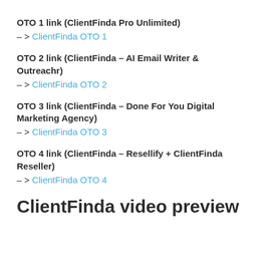OTO 1 link (ClientFinda Pro Unlimited)
– > ClientFinda OTO 1
OTO 2 link (ClientFinda – AI Email Writer & Outreachr)
– > ClientFinda OTO 2
OTO 3 link (ClientFinda – Done For You Digital Marketing Agency)
– > ClientFinda OTO 3
OTO 4 link (ClientFinda – Resellify + ClientFinda Reseller)
– > ClientFinda OTO 4
ClientFinda video preview